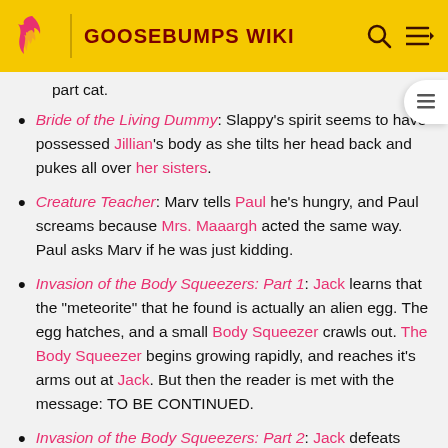GOOSEBUMPS WIKI
part cat.
Bride of the Living Dummy: Slappy's spirit seems to have possessed Jillian's body as she tilts her head back and pukes all over her sisters.
Creature Teacher: Marv tells Paul he's hungry, and Paul screams because Mrs. Maaargh acted the same way. Paul asks Marv if he was just kidding.
Invasion of the Body Squeezers: Part 1: Jack learns that the "meteorite" that he found is actually an alien egg. The egg hatches, and a small Body Squeezer crawls out. The Body Squeezer begins growing rapidly, and reaches it's arms out at Jack. But then the reader is met with the message: TO BE CONTINUED.
Invasion of the Body Squeezers: Part 2: Jack defeats